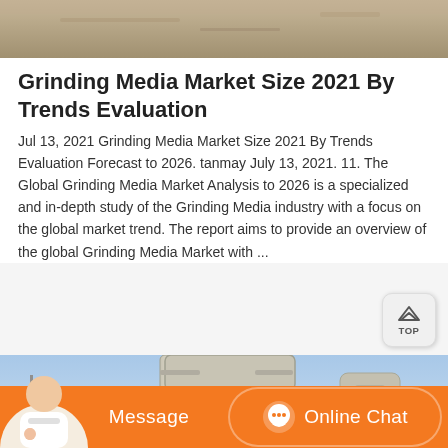[Figure (photo): Top portion of a photo showing sandy/rocky ground texture, partially cropped at the top of the page.]
Grinding Media Market Size 2021 By Trends Evaluation
Jul 13, 2021 Grinding Media Market Size 2021 By Trends Evaluation Forecast to 2026. tanmay July 13, 2021. 11. The Global Grinding Media Market Analysis to 2026 is a specialized and in-depth study of the Grinding Media industry with a focus on the global market trend. The report aims to provide an overview of the global Grinding Media Market with ...
[Figure (photo): Industrial grinding mill machinery with large white/beige cylindrical pipes and mechanical components against a blue sky background.]
[Figure (infographic): Orange bottom bar with Message button on the left and Online Chat button with chat icon on the right. A customer service agent photo is visible on the far left.]